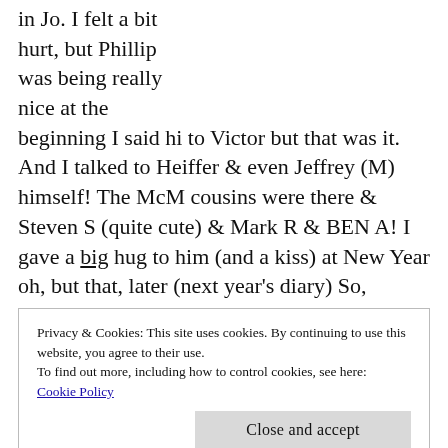in Jo. I felt a bit hurt, but Phillip was being really nice at the beginning I said hi to Victor but that was it. And I talked to Heiffer & even Jeffrey (M) himself! The McM cousins were there & Steven S (quite cute) & Mark R & BEN A! I gave a big hug to him (and a kiss) at New Year oh, but that, later (next year's diary) So, basically, wasn't too. bad, but not ragey either. I was wishing Mark was there, but still eyed off guys. PTO→ ["Please Turn Over" meaning, there's more on the next page…]
Privacy & Cookies: This site uses cookies. By continuing to use this website, you agree to their use.
To find out more, including how to control cookies, see here:
Cookie Policy
Close and accept
→1987 a bastard, bitch of a year, sad to see it go